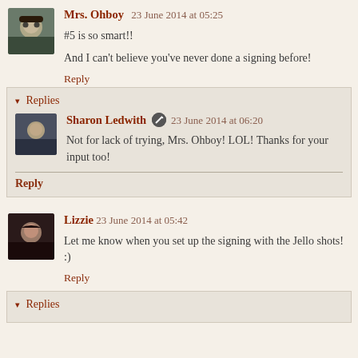[Figure (photo): Avatar of Mrs. Ohboy - person wearing dark glasses and hat]
Mrs. Ohboy 23 June 2014 at 05:25
#5 is so smart!!

And I can't believe you've never done a signing before!
Reply
Replies
[Figure (photo): Avatar of Sharon Ledwith - person in dark clothing]
Sharon Ledwith 23 June 2014 at 06:20
Not for lack of trying, Mrs. Ohboy! LOL! Thanks for your input too!
Reply
[Figure (photo): Avatar of Lizzie - person with dark hair]
Lizzie 23 June 2014 at 05:42
Let me know when you set up the signing with the Jello shots! :)
Reply
Replies